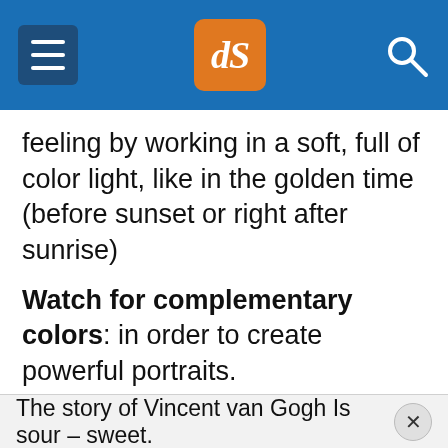dPS navigation header with hamburger menu, dPS logo, and search icon
feeling by working in a soft, full of color light, like in the golden time (before sunset or right after sunrise)
Watch for complementary colors: in order to create powerful portraits.
Think about the subject's looking direction as a creative tool: Sometimes an off camera gaze can give your story outstanding emotional impact.
The story of Vincent van Gogh Is sour – sweet.